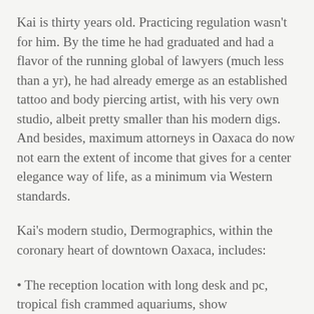Kai is thirty years old. Practicing regulation wasn't for him. By the time he had graduated and had a flavor of the running global of lawyers (much less than a yr), he had already emerge as an established tattoo and body piercing artist, with his very own studio, albeit pretty smaller than his modern digs. And besides, maximum attorneys in Oaxaca do now not earn the extent of income that gives for a center elegance way of life, as a minimum via Western standards.
Kai's modern studio, Dermographics, within the coronary heart of downtown Oaxaca, includes:
• The reception location with long desk and pc, tropical fish crammed aquariums, show